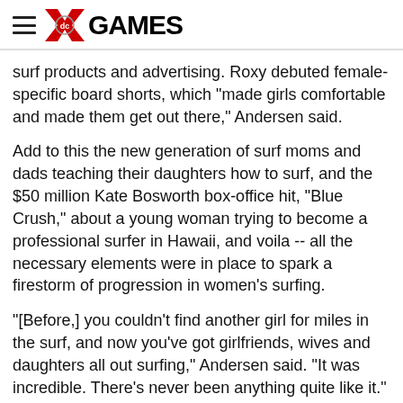X GAMES
surf products and advertising. Roxy debuted female-specific board shorts, which "made girls comfortable and made them get out there," Andersen said.
Add to this the new generation of surf moms and dads teaching their daughters how to surf, and the $50 million Kate Bosworth box-office hit, "Blue Crush," about a young woman trying to become a professional surfer in Hawaii, and voila -- all the necessary elements were in place to spark a firestorm of progression in women's surfing.
"[Before,] you couldn't find another girl for miles in the surf, and now you've got girlfriends, wives and daughters all out surfing," Andersen said. "It was incredible. There's never been anything quite like it."
While the recreational side was booming, the competitive side of women's professional surfing was